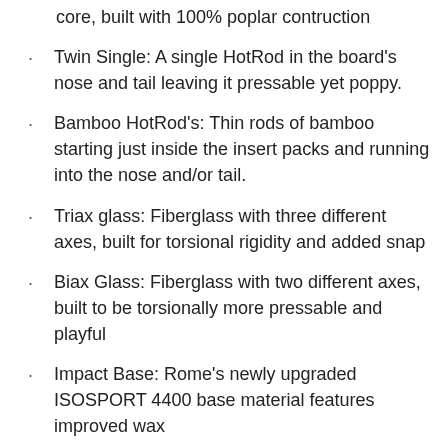core, built with 100% poplar contruction
Twin Single: A single HotRod in the board's nose and tail leaving it pressable yet poppy.
Bamboo HotRod's: Thin rods of bamboo starting just inside the insert packs and running into the nose and/or tail.
Triax glass: Fiberglass with three different axes, built for torsional rigidity and added snap
Biax Glass: Fiberglass with two different axes, built to be torsionally more pressable and playful
Impact Base: Rome's newly upgraded ISOSPORT 4400 base material features improved wax